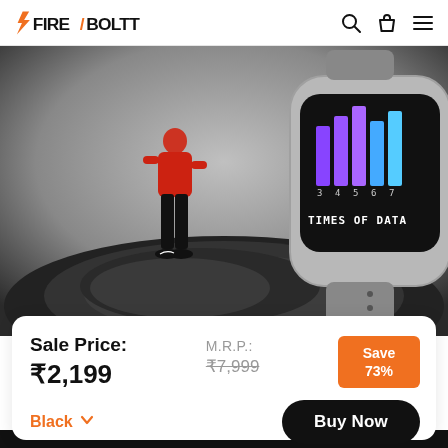FIRE-BOLTT
[Figure (photo): Fire-Boltt smartwatch product photo: a person in black outfit standing on large rocks, with a giant smartwatch (showing 'TIMES OF DATA' and colorful bar graph on screen) in the background. Gray background.]
Sale Price: ₹2,199
M.R.P.: ₹7,999
Save 73%
Black
Buy Now